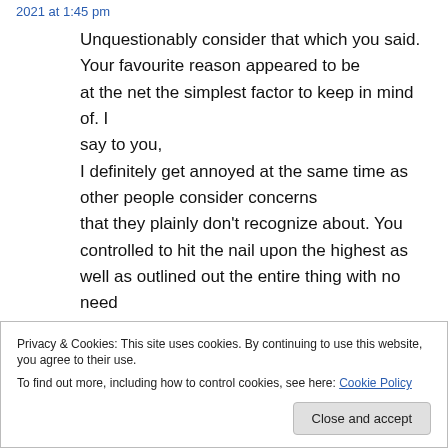2021 at 1:45 pm
Unquestionably consider that which you said. Your favourite reason appeared to be at the net the simplest factor to keep in mind of. I say to you, I definitely get annoyed at the same time as other people consider concerns that they plainly don't recognize about. You controlled to hit the nail upon the highest as well as outlined out the entire thing with no need side effect . people could
Privacy & Cookies: This site uses cookies. By continuing to use this website, you agree to their use. To find out more, including how to control cookies, see here: Cookie Policy